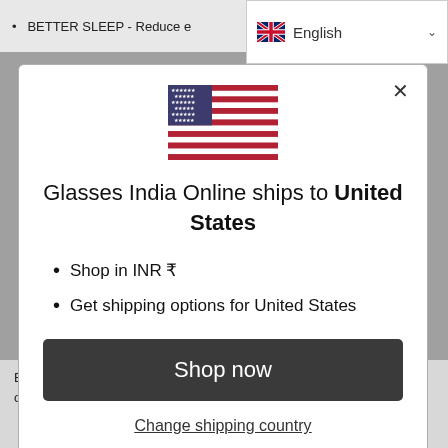BETTER SLEEP - Reduce e... o
[Figure (screenshot): Modal dialog with US flag, shipping information for United States, shop now button and change shipping country link]
By wearing blue light blocking glasses, you can limit the amount of blue light that enters your eyes and make your screentime